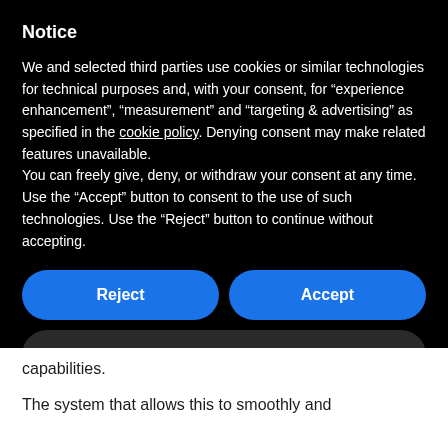Notice
We and selected third parties use cookies or similar technologies for technical purposes and, with your consent, for “experience enhancement”, “measurement” and “targeting & advertising” as specified in the cookie policy. Denying consent may make related features unavailable.
You can freely give, deny, or withdraw your consent at any time. Use the “Accept” button to consent to the use of such technologies. Use the “Reject” button to continue without accepting.
Reject
Accept
Learn more and customize
capabilities.
The system that allows this to smoothly and